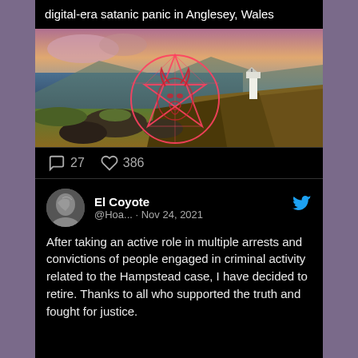digital-era satanic panic in Anglesey, Wales
[Figure (photo): Landscape photo of a coastal scene with a lighthouse on a rocky hill, overlaid with a red glowing pentagram/sigil symbol]
27  386
El Coyote @Hoa... · Nov 24, 2021
After taking an active role in multiple arrests and convictions of people engaged in criminal activity related to the Hampstead case, I have decided to retire. Thanks to all who supported the truth and fought for justice.